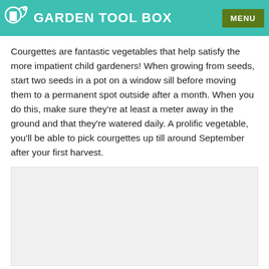GARDEN TOOL BOX
Courgettes are fantastic vegetables that help satisfy the more impatient child gardeners! When growing from seeds, start two seeds in a pot on a window sill before moving them to a permanent spot outside after a month. When you do this, make sure they're at least a meter away in the ground and that they're watered daily. A prolific vegetable, you'll be able to pick courgettes up till around September after your first harvest.
[Figure (photo): Placeholder image area, light grey background]